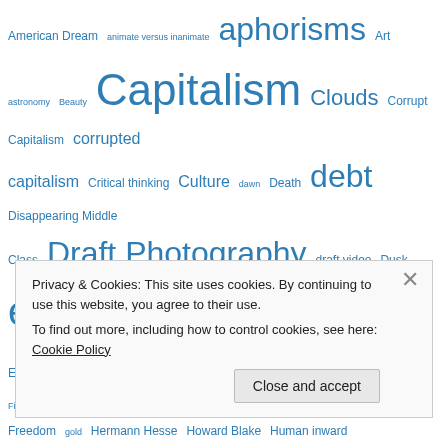American Dream animate versus inanimate aphorisms Art astronomy Beauty Capitalism Clouds Corrupt Capitalism corrupted capitalism Critical thinking Culture dawn Death debt Disappearing Middle Class Draft Photography draft video Dusk economics Education Environment eternity Fall Fallacy of money Fiat Currency Freedom gold Hermann Hesse Howard Blake Human inward Human momentum human outward inflation inhumanism Life Love Mankind Margo Wiessman Money Muses Music Nature non-human
Privacy & Cookies: This site uses cookies. By continuing to use this website, you agree to their use. To find out more, including how to control cookies, see here: Cookie Policy. Close and accept